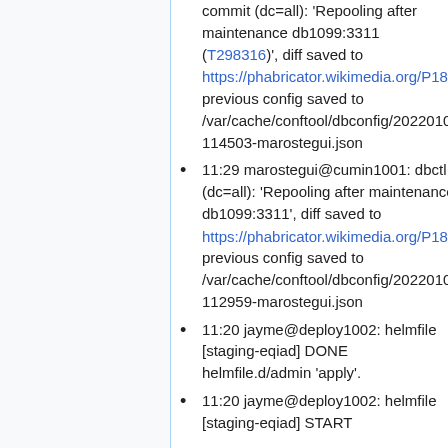commit (dc=all): 'Repooling after maintenance db1099:3311 (T298316)', diff saved to https://phabricator.wikimedia.org/P18370 and previous config saved to /var/cache/conftool/dbconfig/20220104-114503-marostegui.json
11:29 marostegui@cumin1001: dbctl commit (dc=all): 'Repooling after maintenance db1099:3311', diff saved to https://phabricator.wikimedia.org/P18369 and previous config saved to /var/cache/conftool/dbconfig/20220104-112959-marostegui.json
11:20 jayme@deploy1002: helmfile [staging-eqiad] DONE helmfile.d/admin 'apply'.
11:20 jayme@deploy1002: helmfile [staging-eqiad] START